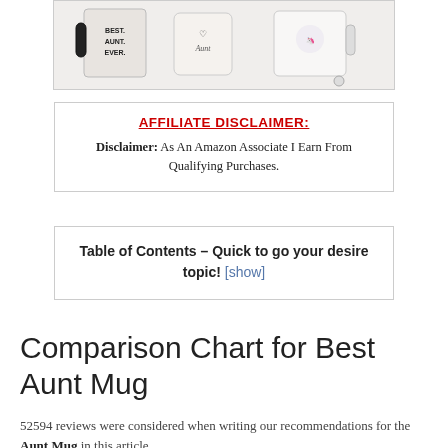[Figure (photo): Three white mugs: one with 'Best Aunt Ever.' in black text with black handle, one with a heart and 'Aunt' in cursive, and one with a unicorn illustration and a small charm.]
AFFILIATE DISCLAIMER:
Disclaimer: As An Amazon Associate I Earn From Qualifying Purchases.
Table of Contents – Quick to go your desire topic! [show]
Comparison Chart for Best Aunt Mug
52594 reviews were considered when writing our recommendations for the Aunt Mug in this article.